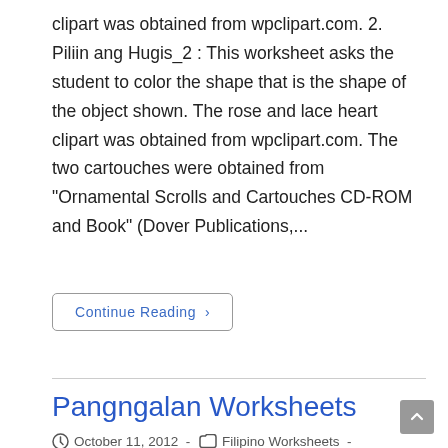clipart was obtained from wpclipart.com. 2. Piliin ang Hugis_2 : This worksheet asks the student to color the shape that is the shape of the object shown. The rose and lace heart clipart was obtained from wpclipart.com. The two cartouches were obtained from "Ornamental Scrolls and Cartouches CD-ROM and Book" (Dover Publications,...
Continue Reading ›
Pangngalan Worksheets
October 11, 2012 - Filipino Worksheets - 28 Comments